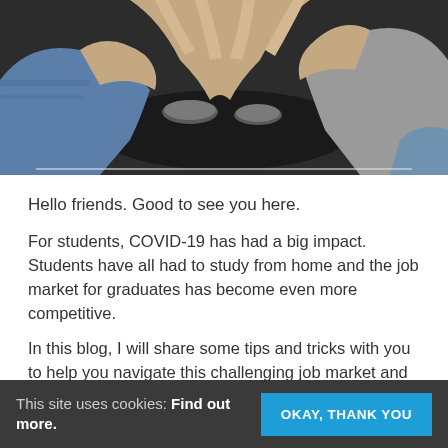[Figure (photo): Overhead view of multiple people's hands coming together over a dark table with coffee cups, suggesting teamwork or collaboration.]
Hello friends. Good to see you here.
For students, COVID-19 has had a big impact. Students have all had to study from home and the job market for graduates has become even more competitive.
In this blog, I will share some tips and tricks with you to help you navigate this challenging job market and find a role which suits you.
My 3 step process for making yourself more employable as a graduate is:
1. While studying, identify the career you are interested in
This site uses cookies: Find out more.